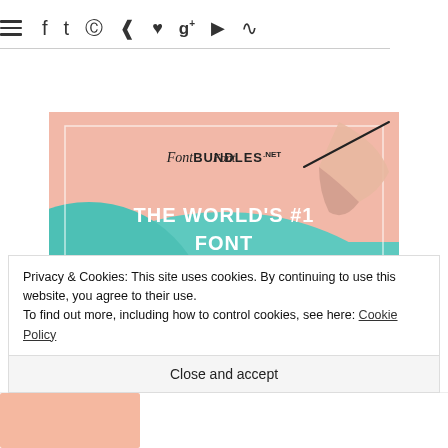Navigation bar with hamburger menu, facebook, twitter, instagram, pinterest, heart, google+, youtube, rss icons
[Figure (illustration): FontBundles.net advertisement banner with teal and salmon background, hand holding pen, text 'THE WORLD'S #1 FONT MARKETPLACE', '-96% off']
Privacy & Cookies: This site uses cookies. By continuing to use this website, you agree to their use.
To find out more, including how to control cookies, see here: Cookie Policy
Close and accept